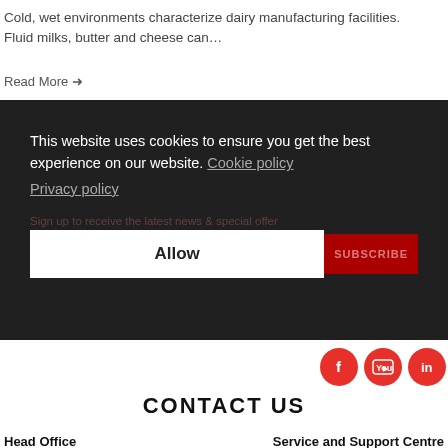Cold, wet environments characterize dairy manufacturing facilities. Fluid milks, butter and cheese can…
Read More →
This website uses cookies to ensure you get the best experience on our website. Cookie policy Privacy policy
Allow
[Figure (other): Three red circular social media icons: Facebook, YouTube, LinkedIn]
CONTACT US
Head Office
Service and Support Centre